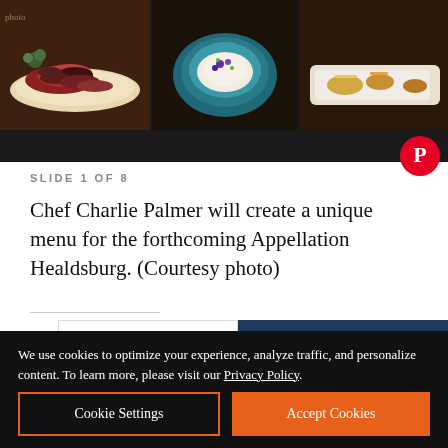[Figure (photo): Three food photos: sliced meat on white plate, blue bowl with cream dish garnished with flowers, small appetizers on white plate]
SLIDE 1 OF 8
Chef Charlie Palmer will create a unique menu for the forthcoming Appellation Healdsburg. (Courtesy photo)
[Figure (logo): Exchange Bank advertisement with logo and 'Community Strong.' tagline. Member FDIC, NMLS ID 643948]
We use cookies to optimize your experience, analyze traffic, and personalize content. To learn more, please visit our Privacy Policy.
Cookie Settings
Accept Cookies